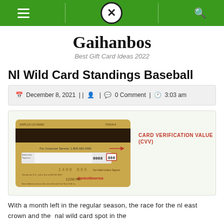[Figure (screenshot): Website navigation bar with green background, hamburger menu, X circle logo, and search icon]
Gaihanbos
Best Gift Card Ideas 2022
Nl Wild Card Standings Baseball
December 8, 2021 | | | 0 Comment | 3:03 am
[Figure (photo): Back of Bank of America credit card showing CVV location. Annotation reads: CARD VERIFICATION VALUE (CVV) with arrow pointing to 3-digit code.]
With a month left in the regular season, the race for the nl east crown and the nal wild card spot in the